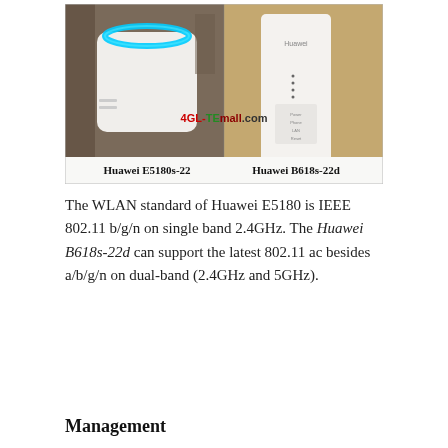[Figure (photo): Side-by-side comparison photo of two Huawei routers: Huawei E5180s-22 (left, a white cube-shaped device with blue LED ring on top) and Huawei B618s-22d (right, a white tall rectangular device). A watermark '4GLTEmall.com' appears in the center of the image. Labels beneath each device read 'Huawei E5180s-22' and 'Huawei B618s-22d'.]
The WLAN standard of Huawei E5180 is IEEE 802.11 b/g/n on single band 2.4GHz. The Huawei B618s-22d can support the latest 802.11 ac besides a/b/g/n on dual-band (2.4GHz and 5GHz).
Management